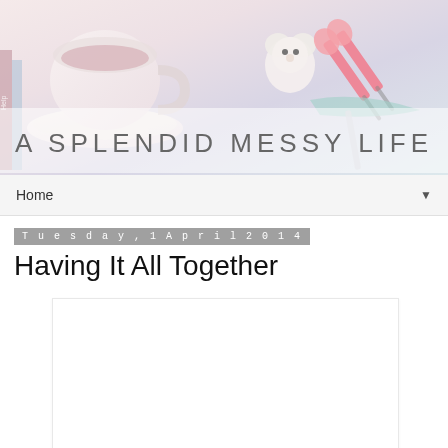[Figure (photo): Blog header banner image showing a teacup with saucer, scissors, books and craft supplies on a light pastel background with the blog title 'A SPLENDID MESSY LIFE' overlaid in gray text]
Home
Tuesday, 1 April 2014
Having It All Together
[Figure (photo): White blank rectangular image placeholder within the blog post content area]